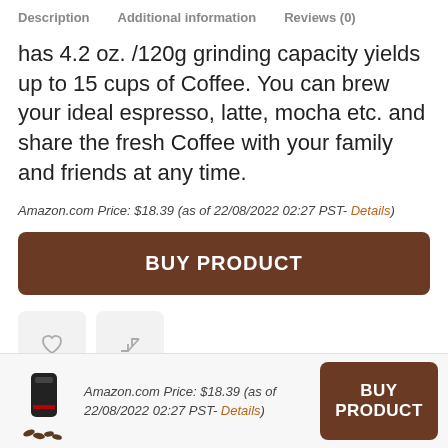Description   Additional information   Reviews (0)
has 4.2 oz. /120g grinding capacity yields up to 15 cups of Coffee. You can brew your ideal espresso, latte, mocha etc. and share the fresh Coffee with your family and friends at any time.
Amazon.com Price: $18.39 (as of 22/08/2022 02:27 PST- Details)
BUY PRODUCT
[Figure (other): Wishlist and compare icon buttons]
Amazon.com Price: $18.39 (as of 22/08/2022 02:27 PST- Details)
BUY PRODUCT